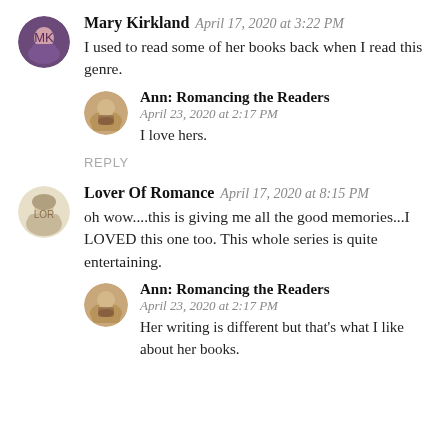Mary Kirkland  April 17, 2020 at 3:22 PM
I used to read some of her books back when I read this genre.
Ann: Romancing the Readers  April 23, 2020 at 2:17 PM
I love hers.
REPLY
Lover Of Romance  April 17, 2020 at 8:15 PM
oh wow....this is giving me all the good memories...I LOVED this one too. This whole series is quite entertaining.
Ann: Romancing the Readers  April 23, 2020 at 2:17 PM
Her writing is different but that's what I like about her books.